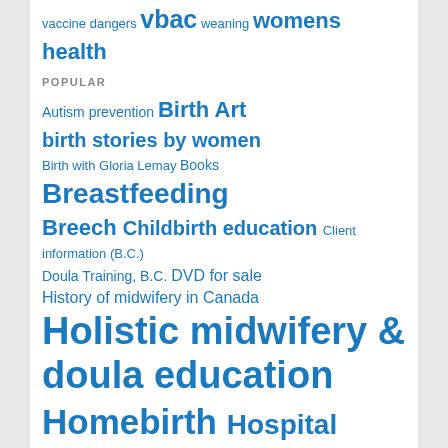vaccine dangers vbac weaning womens health
POPULAR
Autism prevention Birth Art birth stories by women Birth with Gloria Lemay Books Breastfeeding Breech Childbirth education Client information (B.C.) Doula Training, B.C. DVD for sale History of midwifery in Canada Holistic midwifery & doula education Homebirth Hospital birth Human Rights action Inspiring people Intactivism Intergenerational...